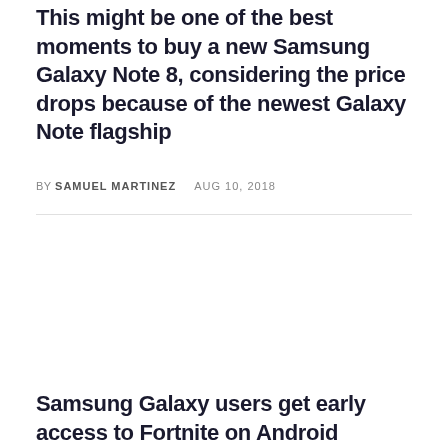This might be one of the best moments to buy a new Samsung Galaxy Note 8, considering the price drops because of the newest Galaxy Note flagship
BY SAMUEL MARTINEZ   AUG 10, 2018
Samsung Galaxy users get early access to Fortnite on Android